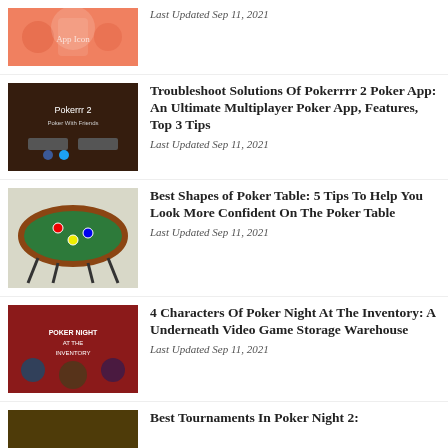[Figure (photo): Pink/orange background with cartoon poker chip characters and icons]
Last Updated Sep 11, 2021
[Figure (photo): Poker movie screenshot with text 'Pokerrrr 2' and app store buttons]
Troubleshoot Solutions Of Pokerrrr 2 Poker App: An Ultimate Multiplayer Poker App, Features, Top 3 Tips
Last Updated Sep 11, 2021
[Figure (photo): Green felt oval poker table with chips and cards on legs]
Best Shapes of Poker Table: 5 Tips To Help You Look More Confident On The Poker Table
Last Updated Sep 11, 2021
[Figure (illustration): Comic book style illustration for Poker Night At The Inventory video game]
4 Characters Of Poker Night At The Inventory: A Underneath Video Game Storage Warehouse
Last Updated Sep 11, 2021
[Figure (photo): Dark themed poker tournament image]
Best Tournaments In Poker Night 2: